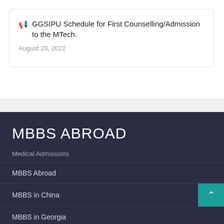GGSIPU Schedule for First Counselling/Admission to the MTech.
August 23, 2022
MBBS ABROAD
Medical Admissions
MBBS Abroad
MBBS in China
MBBS in Georgia